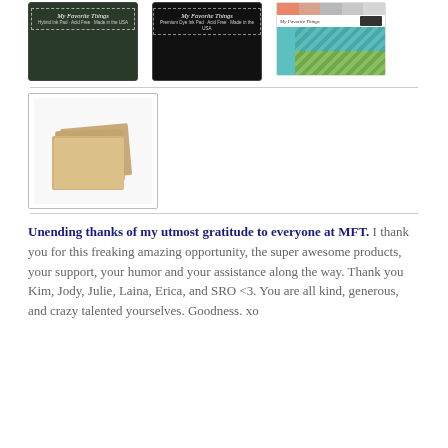[Figure (photo): Three product images from My Favorite Things: a hybrid ink pad (dark green/black), a premium dye ink pad (black), and a color swatch/paper pad with coral, gray, teal, and green colors.]
[Figure (photo): A stack of kraft/tan blank note cards photographed on white background, shown inside a bordered product thumbnail frame.]
Unending thanks of my utmost gratitude to everyone at MFT. I thank you for this freaking amazing opportunity, the super awesome products, your support, your humor and your assistance along the way. Thank you Kim, Jody, Julie, Laina, Erica, and SRO <3. You are all kind, generous, and crazy talented yourselves. Goodness. xo